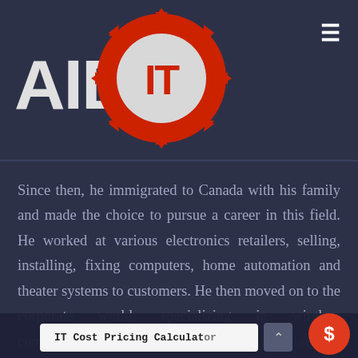[Figure (logo): AID IT logo — red gear/cog with white circle center containing red 'IT' text, and white 'AID' text to the left]
Since then, he immigrated to Canada with his family and made the choice to pursue a career in this field. He worked at various electronics retailers, selling, installing, fixing computers, home automation and theater systems to customers. He then moved on to the corporate world, specializing in wireless communications systems and related solutions for bu... Sam has excelled for over 10 years
IT Cost Pricing Calculator